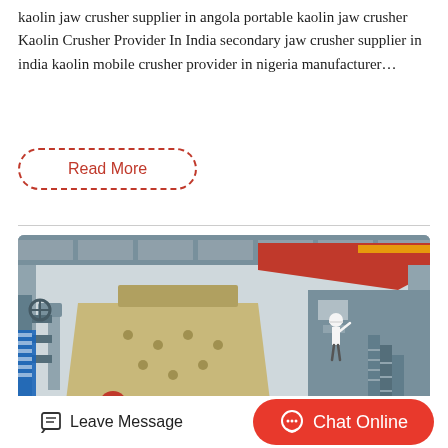kaolin jaw crusher supplier in angola portable kaolin jaw crusher Kaolin Crusher Provider In India secondary jaw crusher supplier in india kaolin mobile crusher provider in nigeria manufacturer…
Read More
[Figure (photo): Industrial crusher machine inside a large factory warehouse. A large yellow/beige impact crusher is in the foreground with a red overhead crane beam visible. A worker in a white hard hat stands on a platform to the right beside grey industrial equipment and metal staircases.]
Leave Message
Chat Online